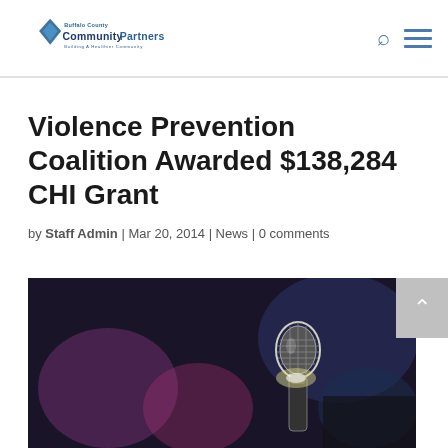Buffalo County Community Partners — navigation header with logo, search icon, and menu icon
Violence Prevention Coalition Awarded $138,284 CHI Grant
by Staff Admin | Mar 20, 2014 | News | 0 comments
[Figure (photo): Close-up photograph of a microphone with bokeh stage lighting in the background — purple, pink, and dark tones]